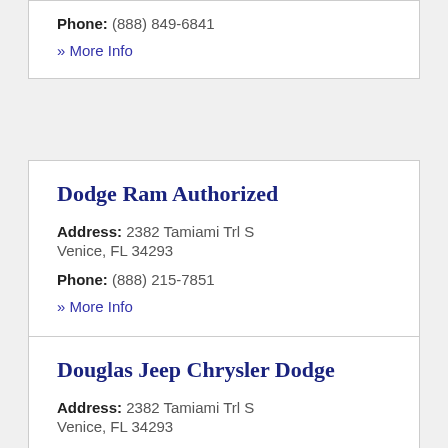Phone: (888) 849-6841
» More Info
Dodge Ram Authorized
Address: 2382 Tamiami Trl S Venice, FL 34293
Phone: (888) 215-7851
» More Info
Douglas Jeep Chrysler Dodge
Address: 2382 Tamiami Trl S Venice, FL 34293
Phone: (941) 484-8300
» More Info